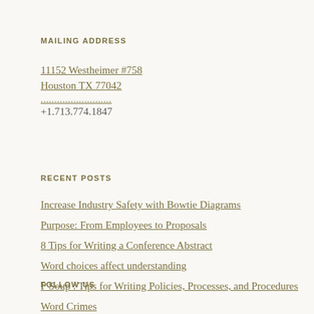MAILING ADDRESS
11152 Westheimer #758
Houston TX 77042
..........................
+1.713.774.1847
RECENT POSTS
Increase Industry Safety with Bowtie Diagrams
Purpose: From Employees to Proposals
8 Tips for Writing a Conference Abstract
Word choices affect understanding
P Soup : Tips for Writing Policies, Processes, and Procedures
Word Crimes
FOLLOW US